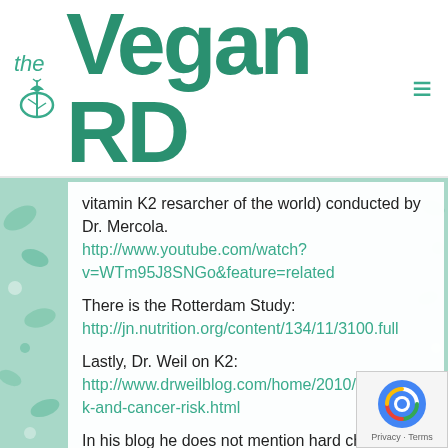the Vegan RD
vitamin K2 resarcher of the world) conducted by Dr. Mercola. http://www.youtube.com/watch?v=WTm95J8SNGo&feature=related
There is the Rotterdam Study: http://jn.nutrition.org/content/134/11/3100.full
Lastly, Dr. Weil on K2: http://www.drweilblog.com/home/2010/4/25/vitamin-k-and-cancer-risk.html
In his blog he does not mention hard cheeses but on the show I saw him on, he did.